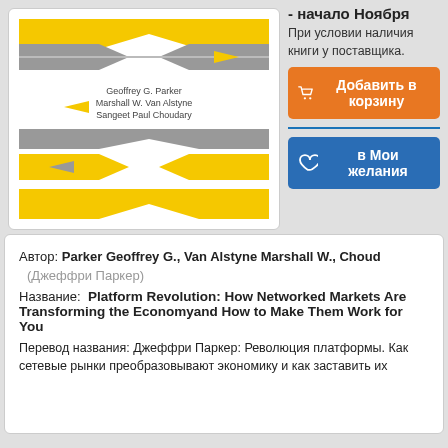[Figure (illustration): Book cover with diagonal yellow and grey arrows/stripes pattern and authors' names: Geoffrey G. Parker, Marshall W. Van Alstyne, Sangeet Paul Choudary]
- начало Ноября
При условии наличия книги у поставщика.
Добавить в корзину
в Мои желания
Автор: Parker Geoffrey G., Van Alstyne Marshall W., Choud
(Джеффри Паркер)
Название: Platform Revolution: How Networked Markets Are Transforming the Economyand How to Make Them Work for You
Перевод названия: Джеффри Паркер: Революция платформы. Как сетевые рынки преобразовывают экономику и как заставить их